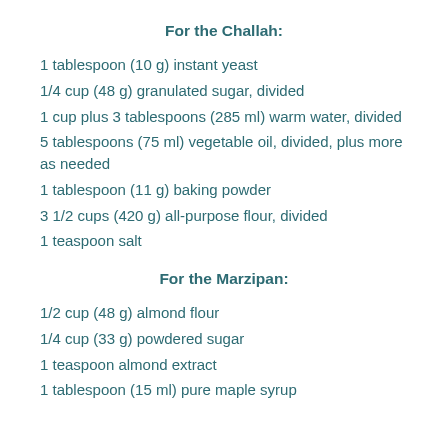For the Challah:
1 tablespoon (10 g) instant yeast
1/4 cup (48 g) granulated sugar, divided
1 cup plus 3 tablespoons (285 ml) warm water, divided
5 tablespoons (75 ml) vegetable oil, divided, plus more as needed
1 tablespoon (11 g) baking powder
3 1/2 cups (420 g) all-purpose flour, divided
1 teaspoon salt
For the Marzipan:
1/2 cup (48 g) almond flour
1/4 cup (33 g) powdered sugar
1 teaspoon almond extract
1 tablespoon (15 ml) pure maple syrup